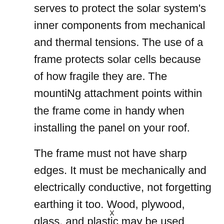serves to protect the solar system's inner components from mechanical and thermal tensions. The use of a frame protects solar cells because of how fragile they are. The mountiNg attachment points within the frame come in handy when installing the panel on your roof.
The frame must not have sharp edges. It must be mechanically and electrically conductive, not forgetting earthing it too. Wood, plywood, glass, and plastic may be used when making the
x